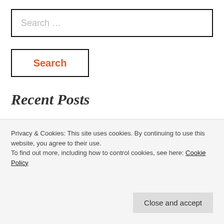Search …
Search
Recent Posts
The Hidden Charms of a Mexican Town
Scenes from a (Very) Long Walk
BaliCore: For the People of Bali
Privacy & Cookies: This site uses cookies. By continuing to use this website, you agree to their use.
To find out more, including how to control cookies, see here: Cookie Policy
Close and accept